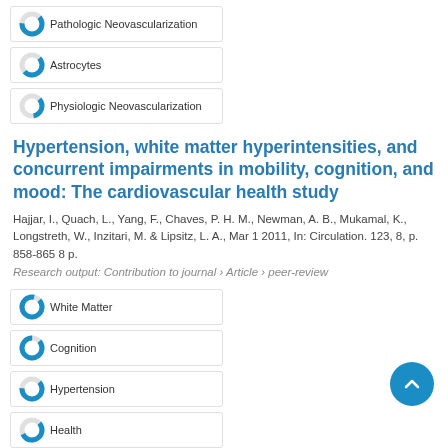Pathologic Neovascularization
Astrocytes
Physiologic Neovascularization
Hypertension, white matter hyperintensities, and concurrent impairments in mobility, cognition, and mood: The cardiovascular health study
Hajjar, I., Quach, L., Yang, F., Chaves, P. H. M., Newman, A. B., Mukamal, K., Longstreth, W., Inzitari, M. & Lipsitz, L. A., Mar 1 2011, In: Circulation. 123, 8, p. 858-865 8 p.
Research output: Contribution to journal › Article › peer-review
White Matter
Cognition
Hypertension
Health
Confidence Intervals
Hypochlorous acid-induced heme degradation from lactoperoxidase as a novel mechanism of free iron